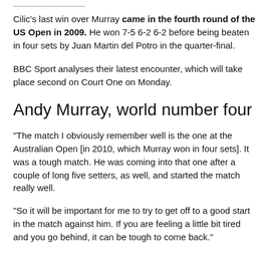Cilic's last win over Murray came in the fourth round of the US Open in 2009. He won 7-5 6-2 6-2 before being beaten in four sets by Juan Martin del Potro in the quarter-final.
BBC Sport analyses their latest encounter, which will take place second on Court One on Monday.
Andy Murray, world number four
"The match I obviously remember well is the one at the Australian Open [in 2010, which Murray won in four sets]. It was a tough match. He was coming into that one after a couple of long five setters, as well, and started the match really well.
"So it will be important for me to try to get off to a good start in the match against him. If you are feeling a little bit tired and you go behind, it can be tough to come back."